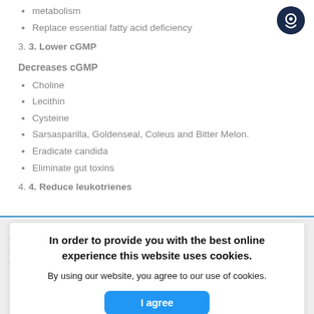metabolism
Replace essential fatty acid deficiency
3. 3. Lower cGMP
Decreases cGMP
Choline
Lecithin
Cysteine
Sarsasparilla, Goldenseal, Coleus and Bitter Melon.
Eradicate candida
Eliminate gut toxins
4. 4. Reduce leukotrienes
In order to provide you with the best online experience this website uses cookies. By using our website, you agree to our use of cookies.
I agree